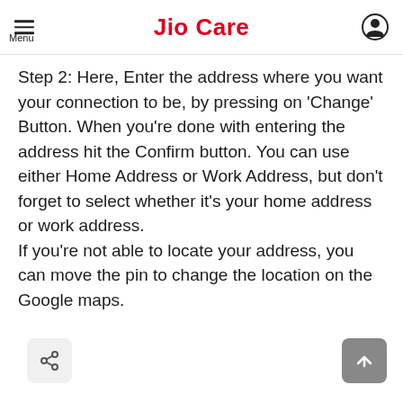Jio Care
Step 2: Here, Enter the address where you want your connection to be, by pressing on ‘Change’ Button. When you’re done with entering the address hit the Confirm button. You can use either Home Address or Work Address, but don’t forget to select whether it’s your home address or work address.
If you’re not able to locate your address, you can move the pin to change the location on the Google maps.